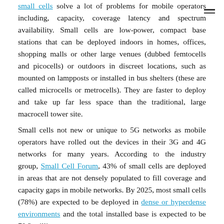small cells solve a lot of problems for mobile operators including, capacity, coverage latency and spectrum availability. Small cells are low-power, compact base stations that can be deployed indoors in homes, offices, shopping malls or other large venues (dubbed femtocells and picocells) or outdoors in discreet locations, such as mounted on lampposts or installed in bus shelters (these are called microcells or metrocells). They are faster to deploy and take up far less space than the traditional, large macrocell tower site.
Small cells not new or unique to 5G networks as mobile operators have rolled out the devices in their 3G and 4G networks for many years. According to the industry group, Small Cell Forum, 43% of small cells are deployed in areas that are not densely populated to fill coverage and capacity gaps in mobile networks. By 2025, most small cells (78%) are expected to be deployed in dense or hyperdense environments and the total installed base is expected to be 70.2 million